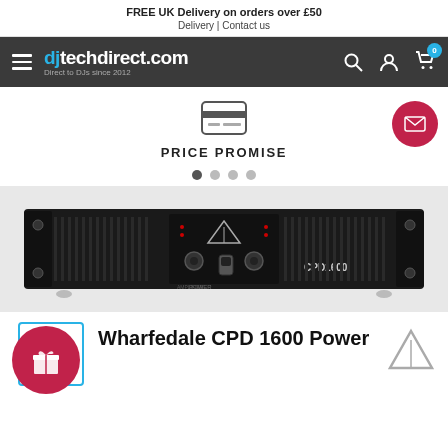FREE UK Delivery on orders over £50
Delivery | Contact us
[Figure (screenshot): djTechDirect.com navigation bar with hamburger menu, logo, search, account, and cart icons on dark grey background]
[Figure (illustration): Credit card icon]
PRICE PROMISE
[Figure (illustration): Carousel navigation dots, first dot active]
[Figure (photo): Wharfedale CPD1600 Power Amplifier product photo, black rack-mount unit]
[Figure (illustration): Blue square border with red circle gift icon badge]
Wharfedale CPD 1600 Power
[Figure (logo): Wharfedale logo - triangular symbol]